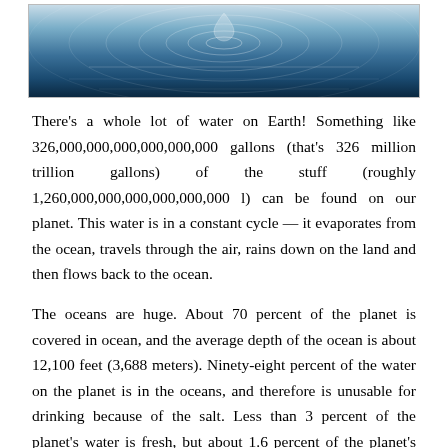[Figure (photo): Top-down view of water ripples on a dark blue ocean or water surface, with concentric ring patterns visible.]
There’s a whole lot of water on Earth! Something like 326,000,000,000,000,000,000 gallons (that’s 326 million trillion gallons) of the stuff (roughly 1,260,000,000,000,000,000,000 l) can be found on our planet. This water is in a constant cycle — it evaporates from the ocean, travels through the air, rains down on the land and then flows back to the ocean.
The oceans are huge. About 70 percent of the planet is covered in ocean, and the average depth of the ocean is about 12,100 feet (3,688 meters). Ninety-eight percent of the water on the planet is in the oceans, and therefore is unusable for drinking because of the salt. Less than 3 percent of the planet’s water is fresh, but about 1.6 percent of the planet’s water is locked up in the polar